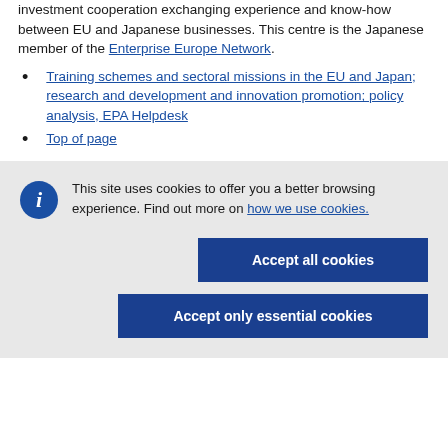investment cooperation exchanging experience and know-how between EU and Japanese businesses. This centre is the Japanese member of the Enterprise Europe Network.
Training schemes and sectoral missions in the EU and Japan; research and development and innovation promotion; policy analysis, EPA Helpdesk
Top of page
This site uses cookies to offer you a better browsing experience. Find out more on how we use cookies.
Accept all cookies
Accept only essential cookies